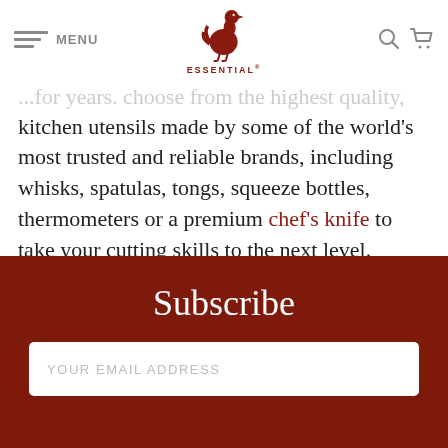MENU | ESSENTIAL (logo) | search | cart
...for over years. Choose from the highest quality, kitchen utensils made by some of the world's most trusted and reliable brands, including whisks, spatulas, tongs, squeeze bottles, thermometers or a premium chef's knife to take your cutting skills to the next level.
Subscribe
YOUR EMAIL ADDRESS